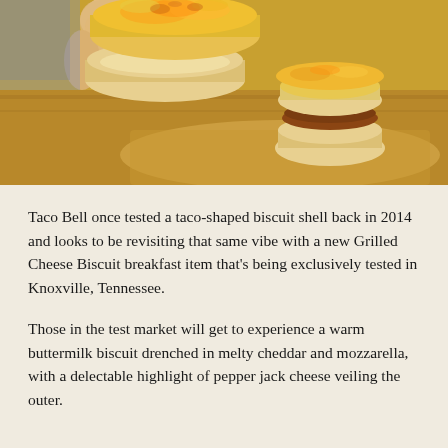[Figure (photo): Photo of hands holding open a cheesy biscuit sandwich with melted golden cheese on top, with another assembled biscuit sandwich visible in the background on parchment paper on a wooden surface.]
Taco Bell once tested a taco-shaped biscuit shell back in 2014 and looks to be revisiting that same vibe with a new Grilled Cheese Biscuit breakfast item that’s being exclusively tested in Knoxville, Tennessee.
Those in the test market will get to experience a warm buttermilk biscuit drenched in melty cheddar and mozzarella, with a delectable highlight of pepper jack cheese veiling the outer.